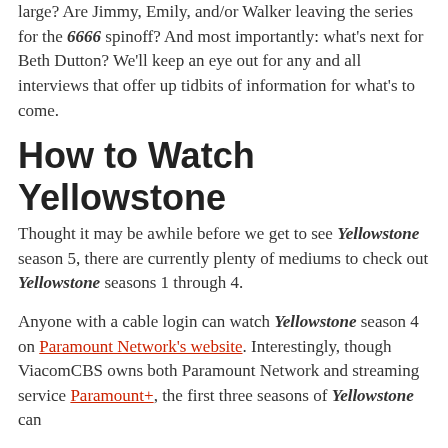large? Are Jimmy, Emily, and/or Walker leaving the series for the 6666 spinoff? And most importantly: what's next for Beth Dutton? We'll keep an eye out for any and all interviews that offer up tidbits of information for what's to come.
How to Watch Yellowstone
Thought it may be awhile before we get to see Yellowstone season 5, there are currently plenty of mediums to check out Yellowstone seasons 1 through 4.
Anyone with a cable login can watch Yellowstone season 4 on Paramount Network's website. Interestingly, though ViacomCBS owns both Paramount Network and streaming service Paramount+, the first three seasons of Yellowstone can